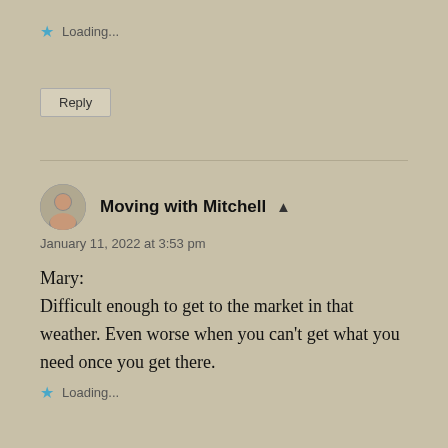Loading...
Reply
Moving with Mitchell
January 11, 2022 at 3:53 pm
Mary:
Difficult enough to get to the market in that weather. Even worse when you can’t get what you need once you get there.
Loading...